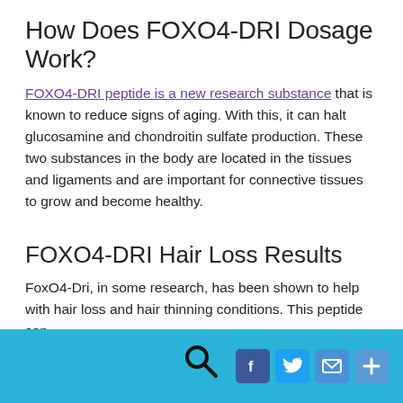How Does FOXO4-DRI Dosage Work?
FOXO4-DRI peptide is a new research substance that is known to reduce signs of aging. With this, it can halt glucosamine and chondroitin sulfate production. These two substances in the body are located in the tissues and ligaments and are important for connective tissues to grow and become healthy.
FOXO4-DRI Hair Loss Results
FoxO4-Dri, in some research, has been shown to help with hair loss and hair thinning conditions. This peptide can
[Figure (other): Website footer bar with search icon and social media share buttons (Facebook, Twitter, email, plus/share)]